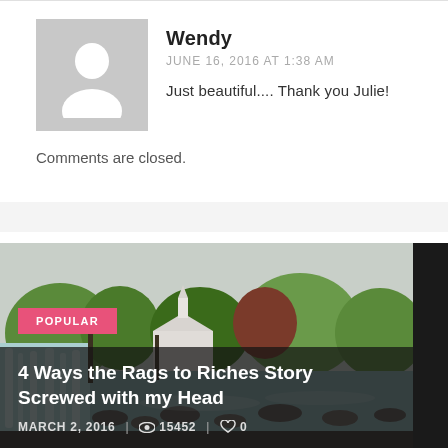Wendy
JUNE 16, 2016 AT 1:38 AM
Just beautiful.... Thank you Julie!
Comments are closed.
[Figure (photo): Outdoor scene with waterfall, rocky stream, trees, and a white church building in the background under an overcast sky]
POPULAR
4 Ways the Rags to Riches Story Screwed with my Head
MARCH 2, 2016   15452   0